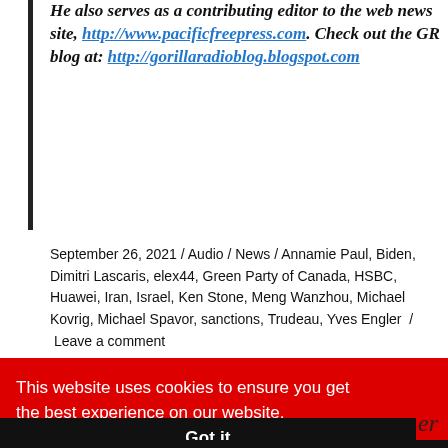He also serves as a contributing editor to the web news site, http://www.pacificfreepress.com. Check out the GR blog at: http://gorillaradioblog.blogspot.com
September 26, 2021 / Audio / News / Annamie Paul, Biden, Dimitri Lascaris, elex44, Green Party of Canada, HSBC, Huawei, Iran, Israel, Ken Stone, Meng Wanzhou, Michael Kovrig, Michael Spavor, sanctions, Trudeau, Yves Engler / Leave a comment
This website uses cookies to ensure you get the best experience on our website. Learn more
Got it